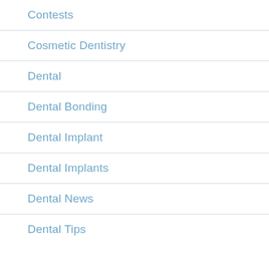Contests
Cosmetic Dentistry
Dental
Dental Bonding
Dental Implant
Dental Implants
Dental News
Dental Tips